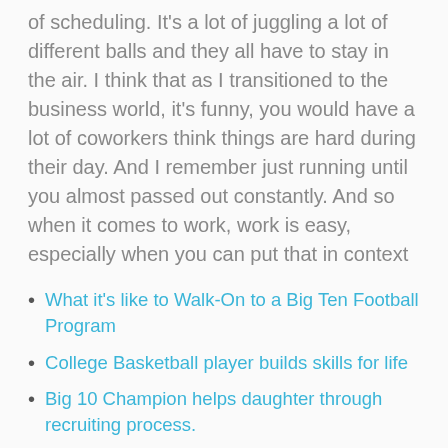of scheduling. It's a lot of juggling a lot of different balls and they all have to stay in the air. I think that as I transitioned to the business world, it's funny, you would have a lot of coworkers think things are hard during their day. And I remember just running until you almost passed out constantly. And so when it comes to work, work is easy, especially when you can put that in context
What it's like to Walk-On to a Big Ten Football Program
College Basketball player builds skills for life
Big 10 Champion helps daughter through recruiting process.
Choosing the right college